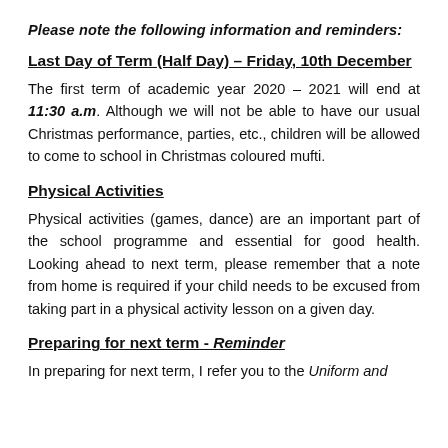Please note the following information and reminders:
Last Day of Term (Half Day) – Friday, 10th December
The first term of academic year 2020 – 2021 will end at 11:30 a.m. Although we will not be able to have our usual Christmas performance, parties, etc., children will be allowed to come to school in Christmas coloured mufti.
Physical Activities
Physical activities (games, dance) are an important part of the school programme and essential for good health. Looking ahead to next term, please remember that a note from home is required if your child needs to be excused from taking part in a physical activity lesson on a given day.
Preparing for next term - Reminder
In preparing for next term, I refer you to the Uniform and